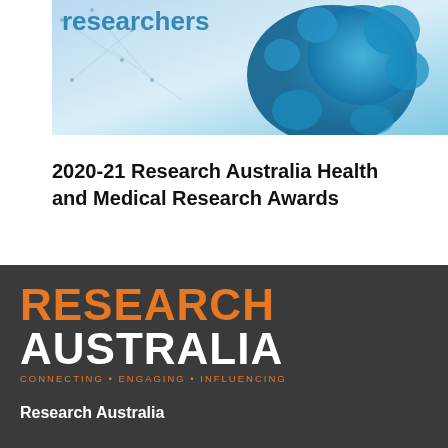[Figure (photo): Blue microscopic cell/virus imagery with partial text 'researchers' visible in white on light blue background]
2020-21 Research Australia Health and Medical Research Awards
[Figure (logo): Research Australia logo on dark grey background. 'RESEARCH' in orange bold letters, 'AUSTRALIA' in white bold letters, tagline 'CONNECTING • ENGAGING • INFLUENCING' in orange small caps]
Research Australia